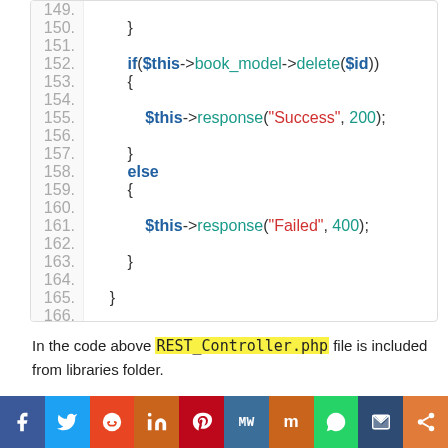[Figure (screenshot): Code block showing PHP lines 149-168 with syntax highlighting. Lines show an if/else block calling $this->book_model->delete($id), with response('Success', 200) and response('Failed', 400).]
In the code above REST_Controller.php file is included from libraries folder.